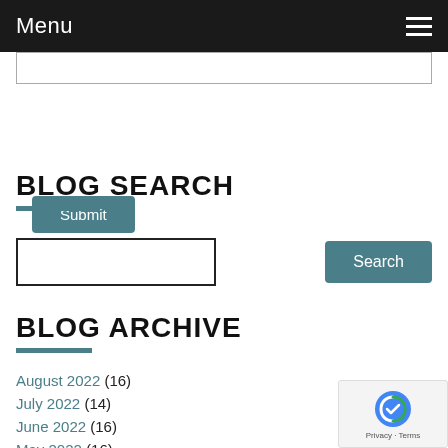Menu
[Figure (screenshot): Textarea input box at top of page]
Submit
BLOG SEARCH
[Figure (screenshot): Search input box and Search button]
BLOG ARCHIVE
August 2022 (16)
July 2022 (14)
June 2022 (16)
May 2022 (16)